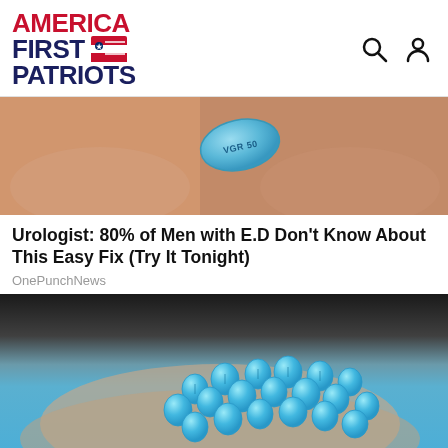AMERICA FIRST PATRIOTS
[Figure (photo): Close-up photo of a hand holding a blue diamond-shaped pill labeled VGR 50 (Viagra)]
Urologist: 80% of Men with E.D Don't Know About This Easy Fix (Try It Tonight)
OnePunchNews
[Figure (photo): Close-up photo of a hand holding many small round blue pills]